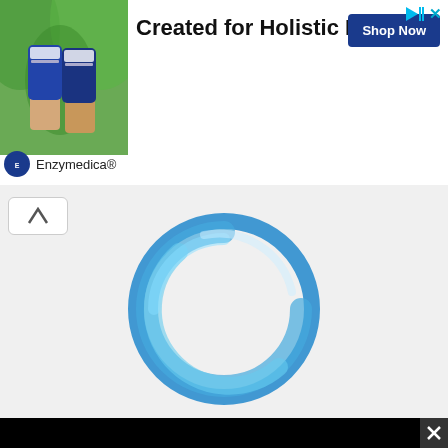[Figure (screenshot): Advertisement banner showing supplement bottles held in hand against green tropical background. Text reads 'Created for Holistic Health*' with a 'Shop Now' button. Brand: Enzymedica®. Top-right has ad icons (triangle play and X). Bottom left has Enzymedica logo circle and brand name.]
[Figure (logo): Circular blue logo graphic composed of overlapping rings/circles in shades of blue and light blue, rendered on light gray background.]
Source not found
[Figure (screenshot): Black video player area with a 'Source not found' error message box. Error box has red circle with exclamation icon and gray background. Close button (X) in top right corner of dark overlay.]